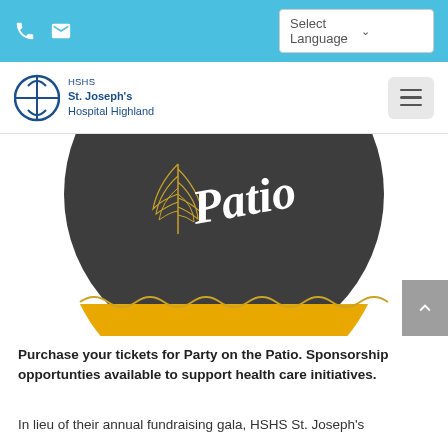HSHS St. Joseph's Hospital Highland — Select Language
[Figure (illustration): Circular event logo for 'Party on the Patio' with dark charcoal background, decorative leaf/feather illustration in gold, cursive white text reading 'Patio', and a gold/yellow lower band.]
Purchase your tickets for Party on the Patio. Sponsorship opportunties available to support health care initiatives.
In lieu of their annual fundraising gala, HSHS St. Joseph's